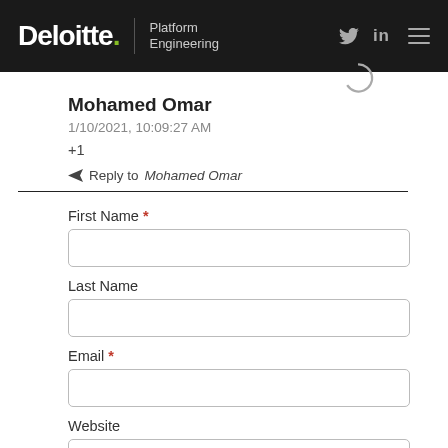Deloitte. Platform Engineering
Mohamed Omar
1/10/2021, 10:09:27 AM
+1
Reply to Mohamed Omar
First Name *
Last Name
Email *
Website